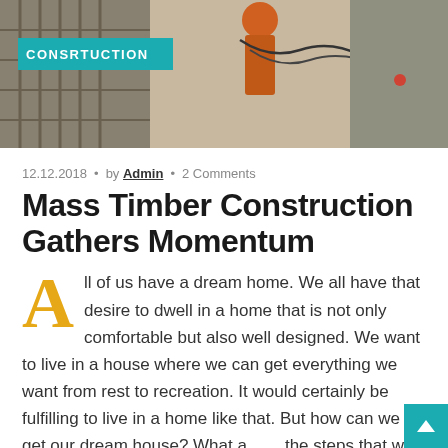[Figure (photo): Construction site photo with worker in orange jacket working with cables and rebar, teal 'CONSRTUCTION' label overlay in upper left]
12.12.2018 • by Admin • 2 Comments
Mass Timber Construction Gathers Momentum
All of us have a dream home. We all have that desire to dwell in a home that is not only comfortable but also well designed. We want to live in a house where we can get everything we want from rest to recreation. It would certainly be fulfilling to live in a home like that. But how can we get our dream house? What are the steps that we need to take in order to acquire it?